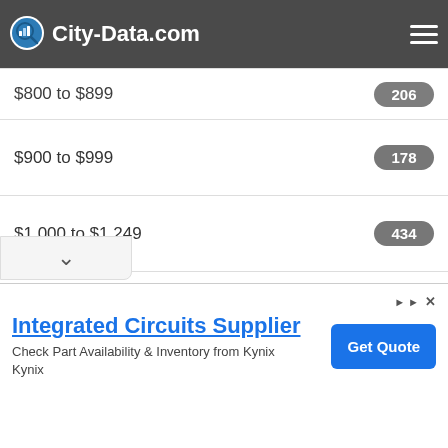City-Data.com
$800 to $899  206
$900 to $999  178
$1,000 to $1,249  434
$1,250 to $1,499  408
$1,500 to $1,999  213
$2,000 to $2,499  61
No cash rent  223
Integrated Circuits Supplier
Check Part Availability & Inventory from Kynix
Kynix
Get Quote